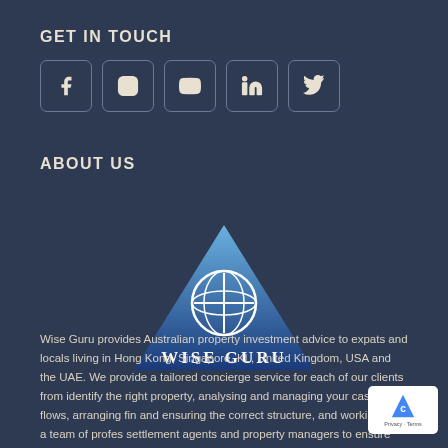GET IN TOUCH
[Figure (infographic): Row of 5 social media icon boxes: Facebook, Instagram, YouTube, LinkedIn, Twitter]
ABOUT US
[Figure (logo): Wise Guru logo: blue pyramid shape with white globe/cross icon and text WISE GURU beneath]
Wise Guru provides Australian property investment advice to expats and locals living in Hong Kong, Singapore, KL, United Kingdom, USA and the UAE. We provide a tailored concierge service for each of our clients from identifying the right property, analysing and managing your cash flows, arranging finance and ensuring the correct structure, and working with a team of professional settlement agents and property managers to ensure your property is tenanted,